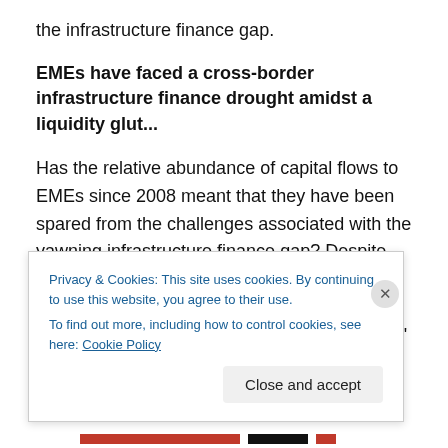the infrastructure finance gap.
EMEs have faced a cross-border infrastructure finance drought amidst a liquidity glut...
Has the relative abundance of capital flows to EMEs since 2008 meant that they have been spared from the challenges associated with the yawning infrastructure finance gap? Despite massive foreign capital inflows to EMEs in recent years (Chart 4), it is doubtful that these will constitute a sufficient solution to the EMEs' infrastructure finance gap.
Privacy & Cookies: This site uses cookies. By continuing to use this website, you agree to their use.
To find out more, including how to control cookies, see here: Cookie Policy